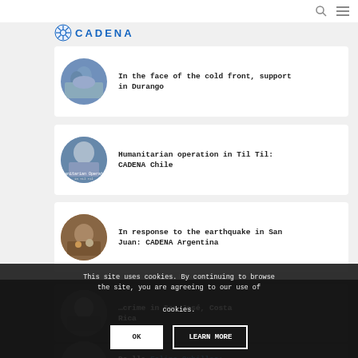[Figure (logo): CADENA organization logo with gear/snowflake icon and blue text]
In the face of the cold front, support in Durango
Humanitarian operation in Til Til: CADENA Chile
In response to the earthquake in San Juan: CADENA Argentina
...crime in San Jose, Costa Rica (partially obscured)
De...lla Felipe Cubillos: CA... (partially obscured)
This site uses cookies. By continuing to browse the site, you are agreeing to our use of cookies.
Argentina's Mother's Day: CADENA